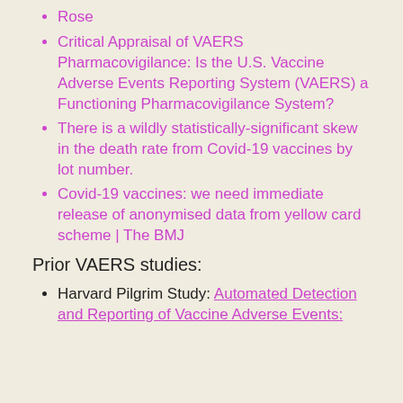Rose
Critical Appraisal of VAERS Pharmacovigilance: Is the U.S. Vaccine Adverse Events Reporting System (VAERS) a Functioning Pharmacovigilance System?
There is a wildly statistically-significant skew in the death rate from Covid-19 vaccines by lot number.
Covid-19 vaccines: we need immediate release of anonymised data from yellow card scheme | The BMJ
Prior VAERS studies:
Harvard Pilgrim Study: Automated Detection and Reporting of Vaccine Adverse Events: